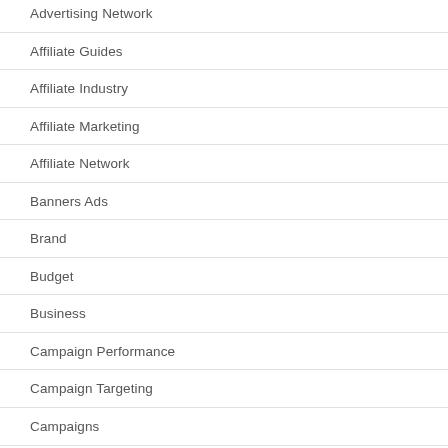Advertising Network
Affiliate Guides
Affiliate Industry
Affiliate Marketing
Affiliate Network
Banners Ads
Brand
Budget
Business
Campaign Performance
Campaign Targeting
Campaigns
Case Study